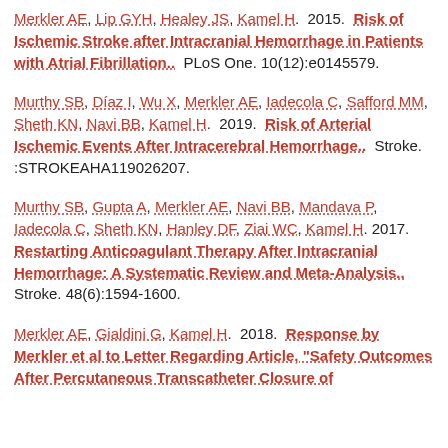Merkler AE, Lip GYH, Healey JS, Kamel H. 2015. Risk of Ischemic Stroke after Intracranial Hemorrhage in Patients with Atrial Fibrillation.. PLoS One. 10(12):e0145579.
Murthy SB, Díaz I, Wu X, Merkler AE, Iadecola C, Safford MM, Sheth KN, Navi BB, Kamel H. 2019. Risk of Arterial Ischemic Events After Intracerebral Hemorrhage.. Stroke. :STROKEAHA119026207.
Murthy SB, Gupta A, Merkler AE, Navi BB, Mandava P, Iadecola C, Sheth KN, Hanley DF, Ziai WC, Kamel H. 2017. Restarting Anticoagulant Therapy After Intracranial Hemorrhage: A Systematic Review and Meta-Analysis.. Stroke. 48(6):1594-1600.
Merkler AE, Gialdini G, Kamel H. 2018. Response by Merkler et al to Letter Regarding Article, "Safety Outcomes After Percutaneous Transcatheter Closure of